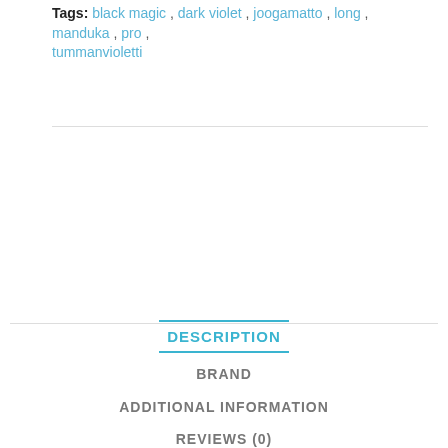Tags: black magic, dark violet, joogamatto, long, manduka, pro, tummanvioletti
DESCRIPTION
BRAND
ADDITIONAL INFORMATION
REVIEWS (0)